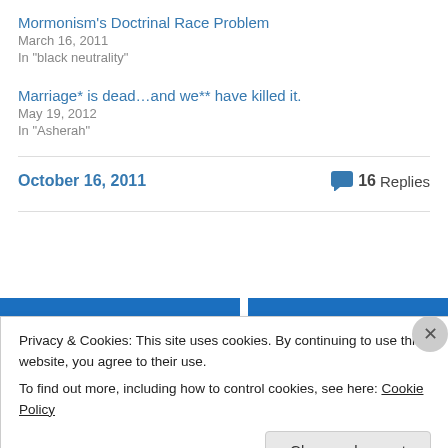Mormonism's Doctrinal Race Problem
March 16, 2011
In "black neutrality"
Marriage* is dead…and we** have killed it.
May 19, 2012
In "Asherah"
October 16, 2011
16 Replies
Privacy & Cookies: This site uses cookies. By continuing to use this website, you agree to their use. To find out more, including how to control cookies, see here: Cookie Policy
Close and accept